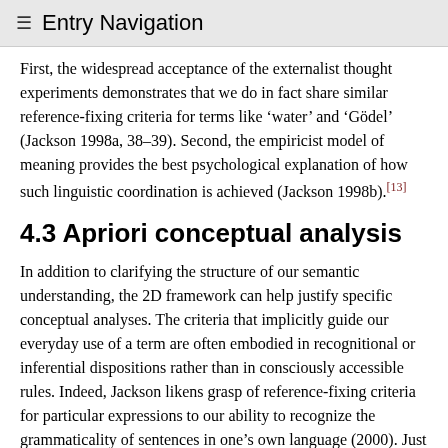≡ Entry Navigation
First, the widespread acceptance of the externalist thought experiments demonstrates that we do in fact share similar reference-fixing criteria for terms like 'water' and 'Gödel' (Jackson 1998a, 38–39). Second, the empiricist model of meaning provides the best psychological explanation of how such linguistic coordination is achieved (Jackson 1998b).[13]
4.3 Apriori conceptual analysis
In addition to clarifying the structure of our semantic understanding, the 2D framework can help justify specific conceptual analyses. The criteria that implicitly guide our everyday use of a term are often embodied in recognitional or inferential dispositions rather than in consciously accessible rules. Indeed, Jackson likens grasp of reference-fixing criteria for particular expressions to our ability to recognize the grammaticality of sentences in one's own language (2000). Just as linguists can construct a grammar for your language on the basis of your